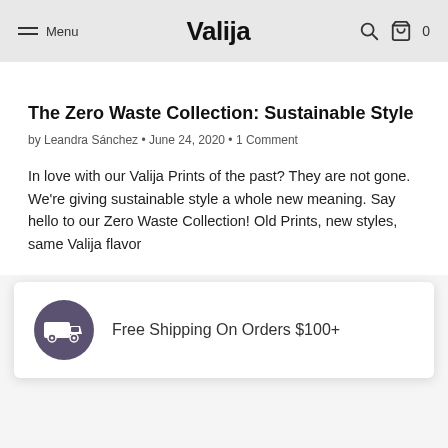Menu | Valija | 0
The Zero Waste Collection: Sustainable Style
by Leandra Sánchez • June 24, 2020 • 1 Comment
In love with our Valija Prints of the past? They are not gone. We're giving sustainable style a whole new meaning. Say hello to our Zero Waste Collection! Old Prints, new styles, same Valija flavor
Free Shipping On Orders $100+